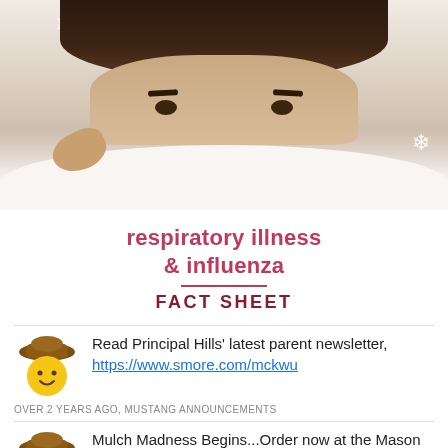[Figure (photo): Person peeking over white blanket/pillow with only eyes visible, brown hair, white background with decorative snowflake overlays]
respiratory illness & influenza FACT SHEET
Read Principal Hills' latest parent newsletter, https://www.smore.com/mckwu
OVER 2 YEARS AGO, MUSTANG ANNOUNCEMENTS
Mulch Madness Begins...Order now at the Mason Fan Shop...